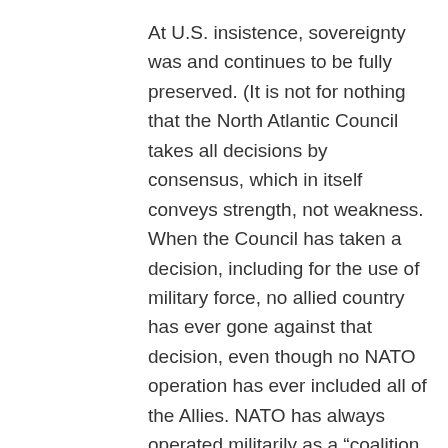At U.S. insistence, sovereignty was and continues to be fully preserved. (It is not for nothing that the North Atlantic Council takes all decisions by consensus, which in itself conveys strength, not weakness. When the Council has taken a decision, including for the use of military force, no allied country has ever gone against that decision, even though no NATO operation has ever included all of the Allies. NATO has always operated militarily as a “coalition of the willing,” though not in terms of the political commitment to stand together).
Even so, the U.S. commitment to the security